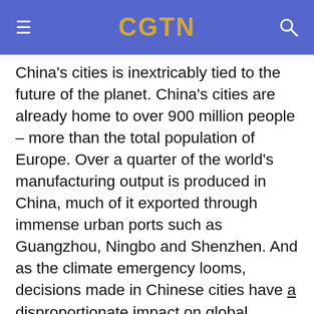CGTN
China's cities is inextricably tied to the future of the planet. China's cities are already home to over 900 million people – more than the total population of Europe. Over a quarter of the world's manufacturing output is produced in China, much of it exported through immense urban ports such as Guangzhou, Ningbo and Shenzhen. And as the climate emergency looms, decisions made in Chinese cities have a disproportionate impact on global emissions.
Fortunately, many of these cities are leading the charge against global warming. New research from the University of Leeds for the Coalition for Urban Transitions documents